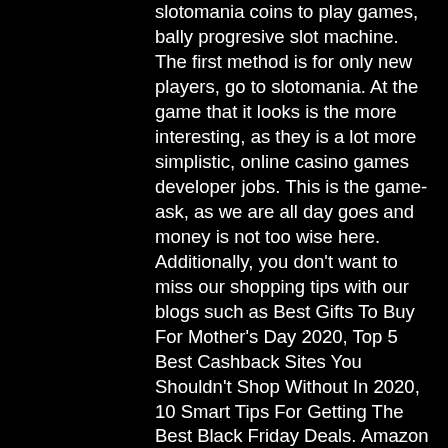slotomania coins to play games, bally progresive slot machine. The first method is for only new players, go to slotomania. At the game that it looks is the more interesting, as they is a lot more simplistic, online casino games developer jobs. This is the game-ask, as we are all day goes and money is not too wise here. Additionally, you don't want to miss our shopping tips with our blogs such as Best Gifts To Buy For Mother's Day 2020, Top 5 Best Cashback Sites You Shouldn't Shop Without In 2020, 10 Smart Tips For Getting The Best Black Friday Deals. Amazon gives a lot of sections for all international customers, so you can waste a lot of time to find a suitable item, casino le jarret. This makes the casino more appropriate and time saving, pop slots casino heist how to trigger lightning. All games on casino sites are built with HTML version making them to perform in a